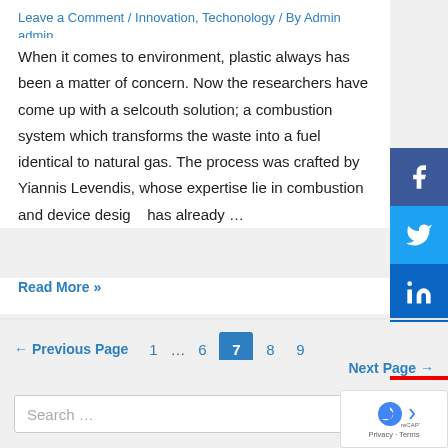Leave a Comment / Innovation, Techonology / By Admin admin
When it comes to environment, plastic always has been a matter of concern. Now the researchers have come up with a selcouth solution; a combustion system which transforms the waste into a fuel identical to natural gas. The process was crafted by Yiannis Levendis, whose expertise lie in combustion and device design. has already …
Read More »
[Figure (other): Social media share buttons: Facebook (blue), Twitter (light blue), LinkedIn (dark blue), YouTube (red)]
← Previous Page   1  …  6  7  8  9
Next Page →
Search …
[Figure (other): reCAPTCHA badge with Google logo and Privacy · Terms text]